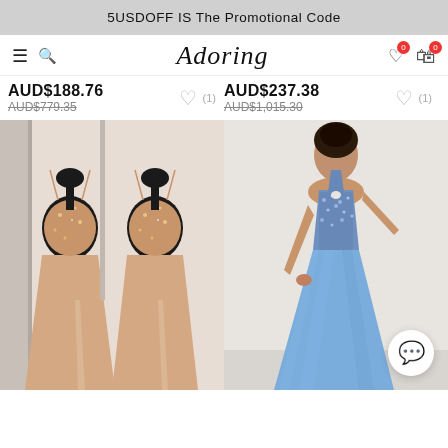5USDOFF IS The Promotional Code
Adoring [logo/brand name with navigation icons]
AUD$188.76
AUD$779.35
(1)
AUD$237.38
AUD$1,015.30
(1)
[Figure (photo): Two mannequins wearing matching blush/champagne beaded spaghetti-strap prom gowns with A-line skirts and slits]
[Figure (photo): Woman wearing a blue halter-neck beaded prom gown with flowy chiffon skirt, posed against a white wall]